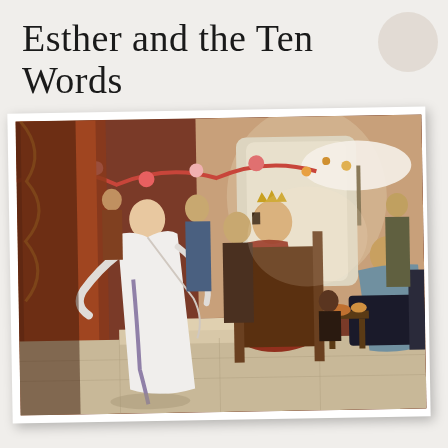Esther and the Ten Words
[Figure (photo): A classical oil painting depicting a scene from the biblical story of Esther. A woman in white robes (Esther) stands on steps gesturing towards a bearded king seated on a throne, surrounded by courtiers and attendants in an opulent palace setting with hanging flower garlands and rich tapestries. Another figure reclines on the right side of the painting.]